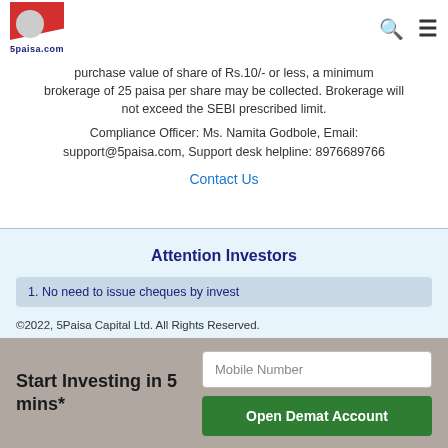5paisa.com [logo] [search icon] [menu icon]
purchase value of share of Rs.10/- or less, a minimum brokerage of 25 paisa per share may be collected. Brokerage will not exceed the SEBI prescribed limit.
Compliance Officer: Ms. Namita Godbole, Email: support@5paisa.com, Support desk helpline: 8976689766
Contact Us
Attention Investors
1. No need to issue cheques by invest
©2022, 5Paisa Capital Ltd. All Rights Reserved.
We are ISO 27001:2013 Certified.
Start Investing in 5 mins*
Mobile Number
Open Demat Account